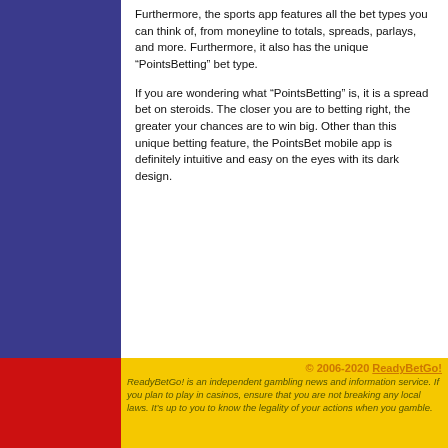Furthermore, the sports app features all the bet types you can think of, from moneyline to totals, spreads, parlays, and more. Furthermore, it also has the unique “PointsBetting” bet type.
If you are wondering what “PointsBetting” is, it is a spread bet on steroids. The closer you are to betting right, the greater your chances are to win big. Other than this unique betting feature, the PointsBet mobile app is definitely intuitive and easy on the eyes with its dark design.
© 2006-2020 ReadyBetGo! ReadyBetGo! is an independent gambling news and information service. If you plan to play in casinos, ensure that you are not breaking any local laws. It’s up to you to know the legality of your actions when you gamble.